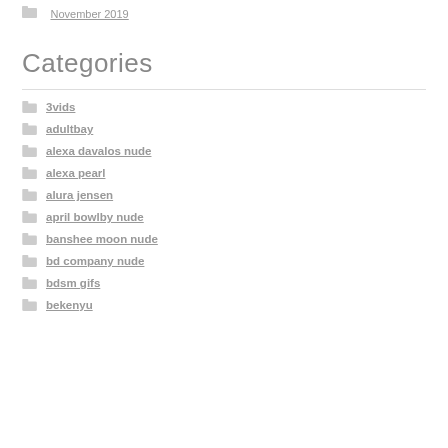November 2019
Categories
3vids
adultbay
alexa davalos nude
alexa pearl
alura jensen
april bowlby nude
banshee moon nude
bd company nude
bdsm gifs
bekenyu